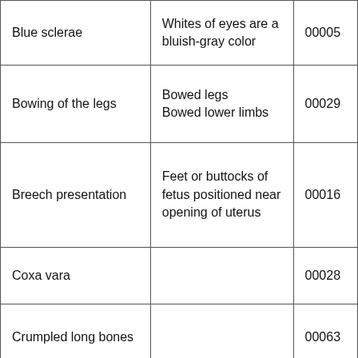| Blue sclerae | Whites of eyes are a bluish-gray color | 00005 |
| Bowing of the legs | Bowed legs
Bowed lower limbs | 00029 |
| Breech presentation | Feet or buttocks of fetus positioned near opening of uterus | 00016 |
| Coxa vara |  | 00028 |
| Crumpled long bones |  | 00063 |
| Death in infancy | Infantile death
Lethal in infancy | 00015 |
|  |  |  |